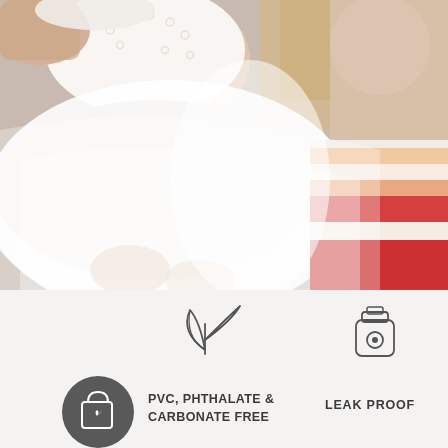[Figure (photo): Photo of two young children/babies sitting together. Left child wears a white eyelet dress with a tulle skirt. Right child wears a multicolor striped outfit. Sandy outdoor background.]
[Figure (illustration): Leaf/plant icon (two leaves outline) above text 'PVC, PHTHALATE & CARBONATE FREE']
[Figure (illustration): Bottle/flask icon (outline of a bottle with a circular dot detail) above text 'LEAK PROOF']
[Figure (illustration): Dark circular badge with a shopping bag and heart icon]
PVC, PHTHALATE & CARBONATE FREE
LEAK PROOF